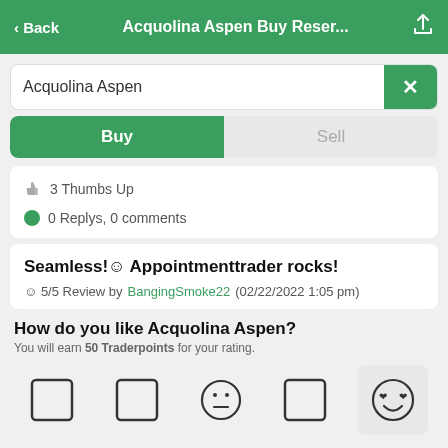< Back  Acquolina Aspen Buy Reser...  [share]
Acquolina Aspen
Buy  Sell
3 Thumbs Up
0 Replys, 0 comments
Seamless!☺ Appointmenttrader rocks!
☺ 5/5 Review by BangingSmoke22 (02/22/2022 1:05 pm)
How do you like Acquolina Aspen?
You will earn 50 Traderpoints for your rating.
[Figure (other): Five emoji rating buttons in a row; the rightmost (smiley with heart eyes) is selected/highlighted]